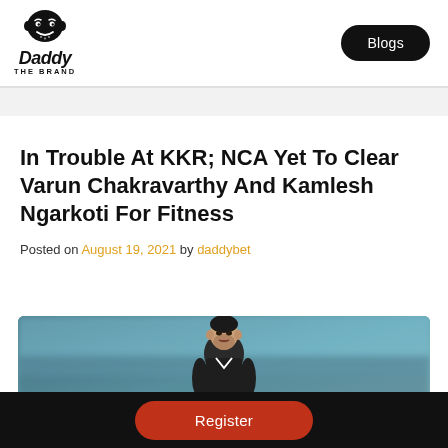Daddy THE BRAND | Blogs
In Trouble At KKR; NCA Yet To Clear Varun Chakravarthy And Kamlesh Ngarkoti For Fitness
Posted on August 19, 2021 by daddybet
[Figure (photo): Cricket player portrait photo, blurred stadium background]
Register